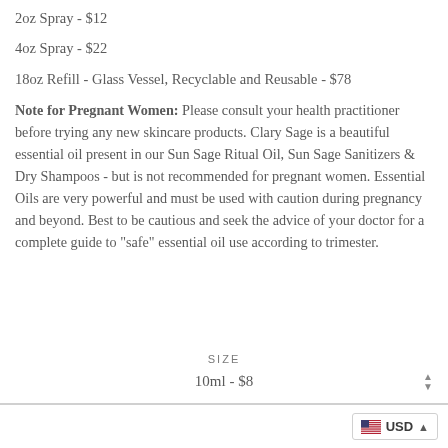2oz Spray - $12
4oz Spray - $22
18oz Refill - Glass Vessel, Recyclable and Reusable - $78
Note for Pregnant Women: Please consult your health practitioner before trying any new skincare products. Clary Sage is a beautiful essential oil present in our Sun Sage Ritual Oil, Sun Sage Sanitizers & Dry Shampoos - but is not recommended for pregnant women. Essential Oils are very powerful and must be used with caution during pregnancy and beyond. Best to be cautious and seek the advice of your doctor for a complete guide to "safe" essential oil use according to trimester.
SIZE
10ml - $8